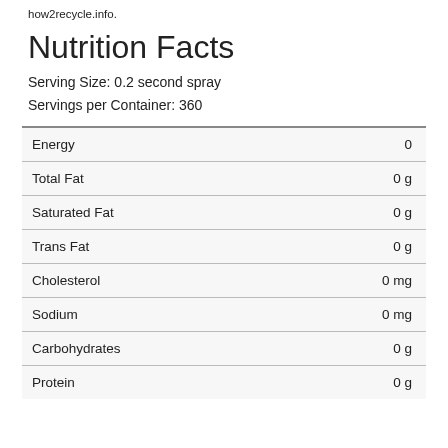how2recycle.info.
Nutrition Facts
Serving Size: 0.2 second spray
Servings per Container: 360
|  |  |
| --- | --- |
| Energy | 0 |
| Total Fat | 0 g |
| Saturated Fat | 0 g |
| Trans Fat | 0 g |
| Cholesterol | 0 mg |
| Sodium | 0 mg |
| Carbohydrates | 0 g |
| Protein | 0 g |